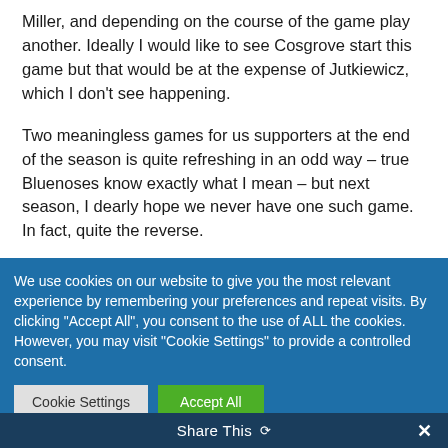Miller, and depending on the course of the game play another. Ideally I would like to see Cosgrove start this game but that would be at the expense of Jutkiewicz, which I don't see happening.
Two meaningless games for us supporters at the end of the season is quite refreshing in an odd way – true Bluenoses know exactly what I mean – but next season, I dearly hope we never have one such game. In fact, quite the reverse.
We use cookies on our website to give you the most relevant experience by remembering your preferences and repeat visits. By clicking "Accept All", you consent to the use of ALL the cookies. However, you may visit "Cookie Settings" to provide a controlled consent.
Share This